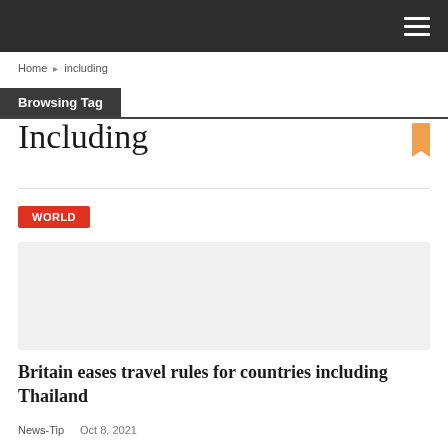Home > including
Browsing Tag
Including
WORLD
[Figure (photo): Article image placeholder area]
Britain eases travel rules for countries including Thailand
News-Tip   Oct 8, 2021